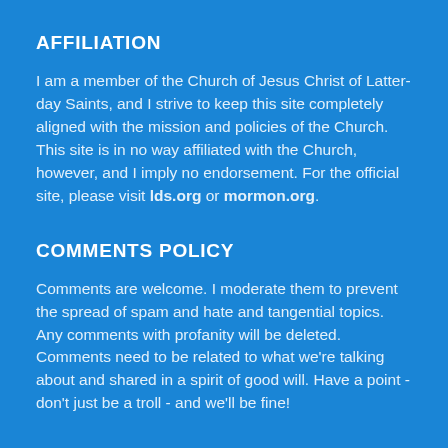AFFILIATION
I am a member of the Church of Jesus Christ of Latter-day Saints, and I strive to keep this site completely aligned with the mission and policies of the Church. This site is in no way affiliated with the Church, however, and I imply no endorsement. For the official site, please visit lds.org or mormon.org.
COMMENTS POLICY
Comments are welcome. I moderate them to prevent the spread of spam and hate and tangential topics.  Any comments with profanity will be deleted. Comments need to be related to what we're talking about and shared in a spirit of good will. Have a point - don't just be a troll - and we'll be fine!